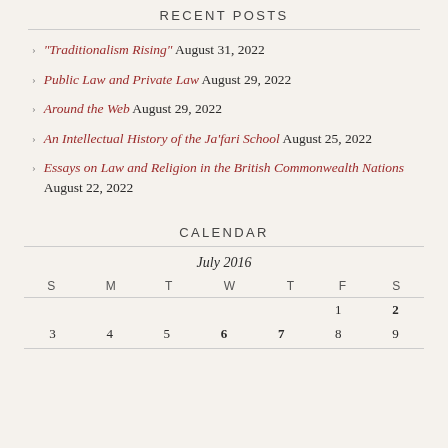RECENT POSTS
“Traditionalism Rising” August 31, 2022
Public Law and Private Law August 29, 2022
Around the Web August 29, 2022
An Intellectual History of the Ja’fari School August 25, 2022
Essays on Law and Religion in the British Commonwealth Nations August 22, 2022
CALENDAR
| S | M | T | W | T | F | S |
| --- | --- | --- | --- | --- | --- | --- |
|  |  |  |  |  | 1 | 2 |
| 3 | 4 | 5 | 6 | 7 | 8 | 9 |